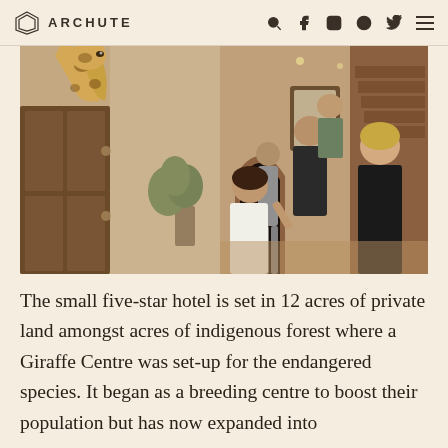ARCHUTE
[Figure (photo): A giraffe peering over a wooden door into a hotel lobby where several people are looking up at it and smiling. The interior shows arched doorways, wooden stairs, and decorative elements.]
The small five-star hotel is set in 12 acres of private land amongst acres of indigenous forest where a Giraffe Centre was set-up for the endangered species. It began as a breeding centre to boost their population but has now expanded into